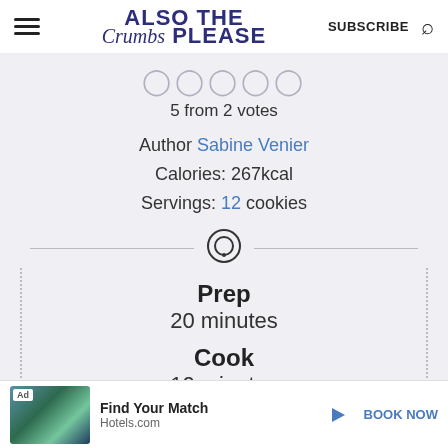Also The Crumbs Please — SUBSCRIBE
5 from 2 votes
Author Sabine Venier
Calories: 267kcal
Servings: 12 cookies
Prep
20 minutes
Cook
10 minutes
[Figure (other): Hotels.com advertisement banner: Find Your Match, BOOK NOW]